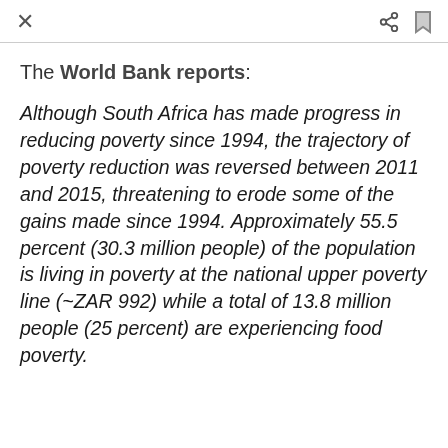× share bookmark
The World Bank reports:
Although South Africa has made progress in reducing poverty since 1994, the trajectory of poverty reduction was reversed between 2011 and 2015, threatening to erode some of the gains made since 1994. Approximately 55.5 percent (30.3 million people) of the population is living in poverty at the national upper poverty line (~ZAR 992) while a total of 13.8 million people (25 percent) are experiencing food poverty.